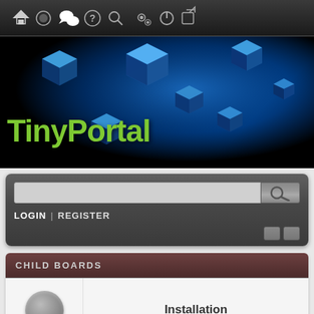[Figure (screenshot): Navigation bar with icons: home, circle, chat bubbles, question mark, search, settings/gear, power, exit/logout icons on dark background]
[Figure (illustration): Hero banner with 3D blue cubes floating in dark background with TinyPortal logo text in green]
TinyPortal
LOGIN | REGISTER
CHILD BOARDS
Installation